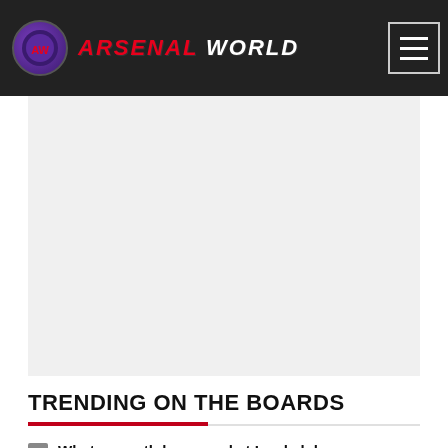ARSENAL WORLD
[Figure (other): Large gray rectangle placeholder for an advertisement or image]
TRENDING ON THE BOARDS
What on earth happened at Lords lol